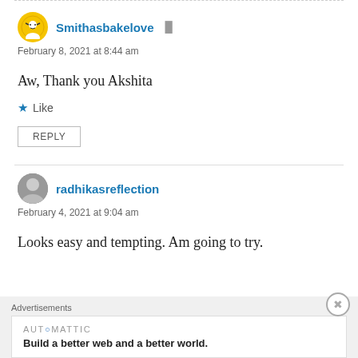Smithasbakelove
February 8, 2021 at 8:44 am
Aw, Thank you Akshita
Like
REPLY
radhikasreflection
February 4, 2021 at 9:04 am
Looks easy and tempting. Am going to try.
Advertisements
AUT⊙MATTIC
Build a better web and a better world.